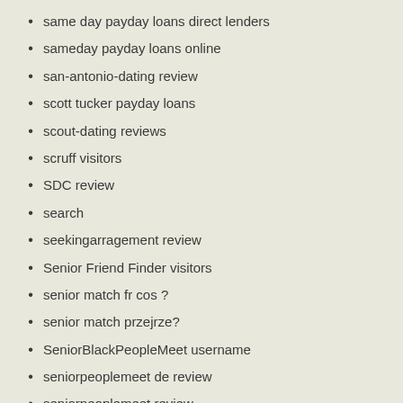same day payday loans direct lenders
sameday payday loans online
san-antonio-dating review
scott tucker payday loans
scout-dating reviews
scruff visitors
SDC review
search
seekingarragement review
Senior Friend Finder visitors
senior match fr cos ?
senior match przejrze?
SeniorBlackPeopleMeet username
seniorpeoplemeet de review
seniorpeoplemeet review